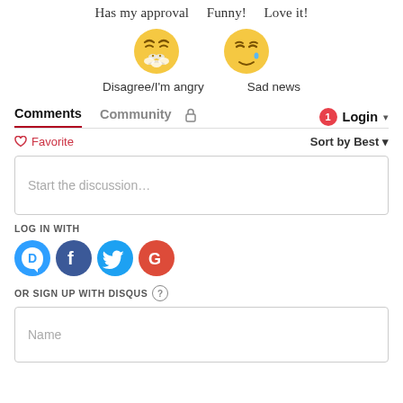Has my approval   Funny!   Love it!
[Figure (illustration): Two emoji faces: an angry/disgusted face and a sad face with a teardrop]
Disagree/I'm angry   Sad news
Comments  Community  🔒  1  Login ▾
♡ Favorite   Sort by Best ▾
Start the discussion…
LOG IN WITH
[Figure (logo): Social login buttons: Disqus (blue speech bubble with D), Facebook (dark blue F), Twitter (light blue bird), Google (red G)]
OR SIGN UP WITH DISQUS ?
Name